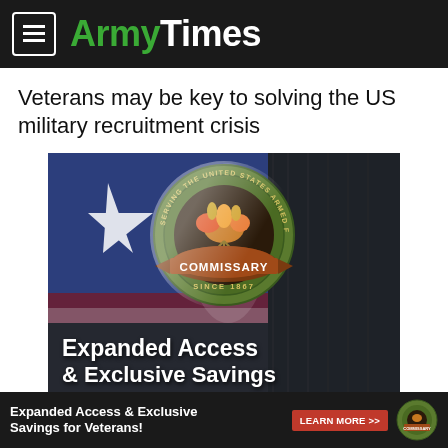ArmyTimes
Veterans may be key to solving the US military recruitment crisis
[Figure (illustration): Commissary advertisement showing an American flag background with the Commissary seal (SERVING THE UNITED STATES ARMED FORCES, SINCE 1867) and text 'Expanded Access & Exclusive Savings']
Expanded Access & Exclusive Savings for Veterans! LEARN MORE >>